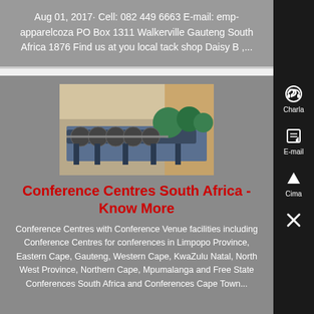Aug 01, 2017· Cell: 082 449 6663 E-mail: emp-apparelcoza PO Box 1311 Walkerville Gauteng South Africa 1876 Find us at you local tack shop Daisy B ,...
[Figure (photo): Industrial machinery in a factory setting, showing large spiral/screw conveyor equipment with green cylindrical components and blue metal framework.]
Conference Centres South Africa - Know More
Conference Centres with Conference Venue facilities including Conference Centres for conferences in Limpopo Province, Eastern Cape, Gauteng, Western Cape, KwaZulu Natal, North West Province, Northern Cape, Mpumalanga and Free State Conferences South Africa and Conferences Cape Town...